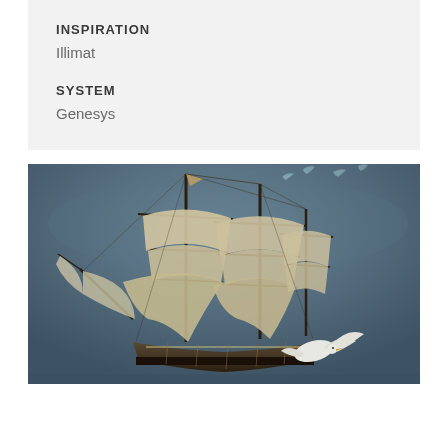INSPIRATION
Illimat
SYSTEM
Genesys
[Figure (illustration): A painted illustration of a tall sailing ship with multiple large cream/tan sails fully deployed, dark masts, and birds flying around the vessel against a dark blue-gray background. A white bird is prominently visible near the bottom right of the ship.]